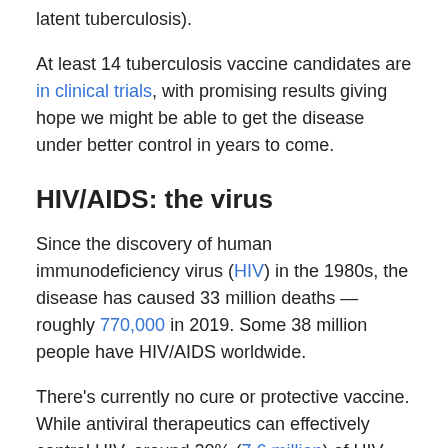latent tuberculosis).
At least 14 tuberculosis vaccine candidates are in clinical trials, with promising results giving hope we might be able to get the disease under better control in years to come.
HIV/AIDS: the virus
Since the discovery of human immunodeficiency virus (HIV) in the 1980s, the disease has caused 33 million deaths — roughly 770,000 in 2019. Some 38 million people have HIV/AIDS worldwide.
There's currently no cure or protective vaccine. While antiviral therapeutics can effectively control HIV, around 20% (7.6 million) of HIV-infected patients don't have access to them.